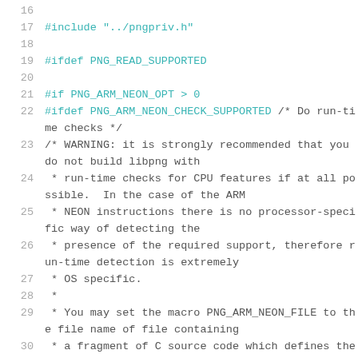[Figure (screenshot): Source code listing showing lines 16-31 of a C header file related to libpng ARM NEON support, with line numbers on the left and code on the right. Preprocessor directives are highlighted in teal/cyan, comments in gray.]